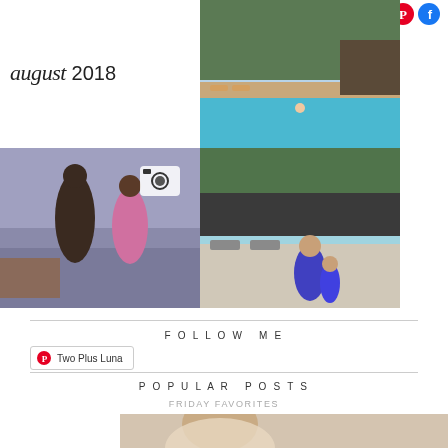follow
[Figure (photo): Social media icons: Instagram (pink circle), Pinterest (red circle), Facebook (blue circle)]
august 2018
[Figure (photo): Outdoor pool area surrounded by tall pine trees with lounge chairs]
[Figure (photo): Two children dancing indoors at a party with decorations in background, camera icon overlay]
[Figure (photo): Woman and child in blue outfits standing at a pool/outdoor resort area with pine trees]
FOLLOW ME
[Figure (logo): Pinterest logo button with text 'Two Plus Luna']
POPULAR POSTS
FRIDAY FAVORITES
[Figure (photo): Partial photo of a person, bottom of page]